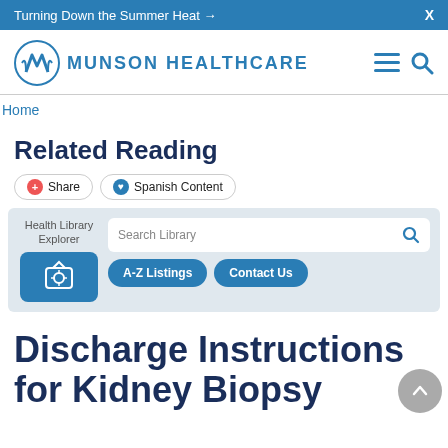Turning Down the Summer Heat →   X
[Figure (logo): Munson Healthcare logo with stylized M icon and text MUNSON HEALTHCARE, plus hamburger menu and search icons]
Home
Related Reading
Share   Spanish Content
Health Library Explorer   Search Library   A-Z Listings   Contact Us
Discharge Instructions for Kidney Biopsy